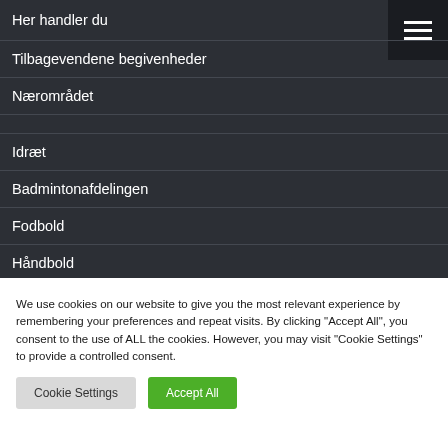Her handler du
Tilbagevendene begivenheder
Nærområdet
Idræt
Badmintonafdelingen
Fodbold
Håndbold
Svømning
We use cookies on our website to give you the most relevant experience by remembering your preferences and repeat visits. By clicking "Accept All", you consent to the use of ALL the cookies. However, you may visit "Cookie Settings" to provide a controlled consent.
Cookie Settings | Accept All